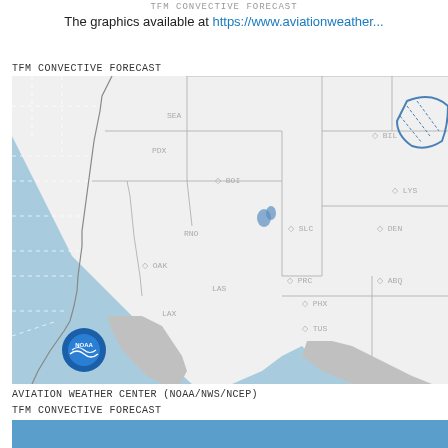TFM CONVECTIVE FORECAST
The graphics available at https://www.aviationweather...
TFM CONVECTIVE FORECAST
[Figure (map): TFM Convective Forecast map showing western United States and Pacific coast. Blue ocean area on left, state boundaries visible, airport identifiers labeled (SEA, PDX, BOI, BIL, RNO, OAK, SLC, LYS, DEN, LAS, LAX, PHX, TUS, PRC, ABQ, LOP). Small blue storm areas visible near SLC and in upper right corner. NOAA logo in lower left of map. MEXICO shown in gray at bottom.]
AVIATION WEATHER CENTER (NOAA/NWS/NCEP)
TFM CONVECTIVE FORECAST